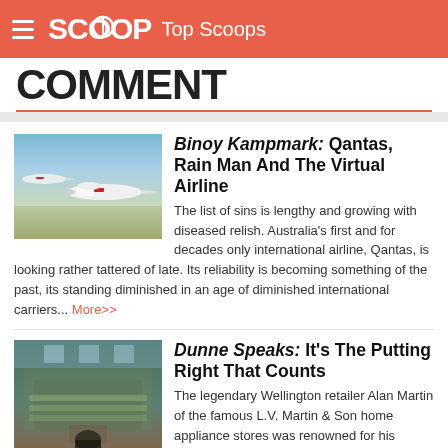SCOOP Top Scoops
COMMENT
Binoy Kampmark: Qantas, Rain Man And The Virtual Airline — The list of sins is lengthy and growing with diseased relish. Australia's first and for decades only international airline, Qantas, is looking rather tattered of late. Its reliability is becoming something of the past, its standing diminished in an age of diminished international carriers... More>>
Dunne Speaks: It's The Putting Right That Counts — The legendary Wellington retailer Alan Martin of the famous L.V. Martin & Son home appliance stores was renowned for his catchphrase, "It's the putting right that counts – and if it's not put right, ask for me, Alan Martin".